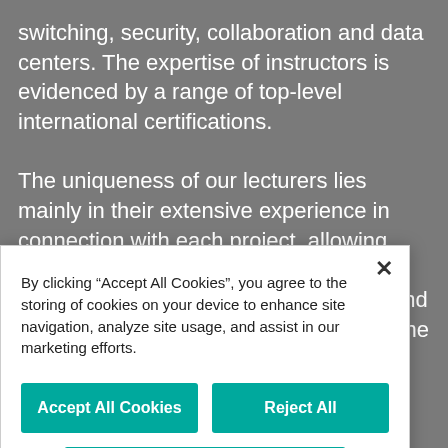switching, security, collaboration and data centers. The expertise of instructors is evidenced by a range of top-level international certifications.
The uniqueness of our lecturers lies mainly in their extensive experience in connection with each project, allowing them to respond very flexibly to any question or suggestion from students, and to pass on their practical knowledge to the
By clicking “Accept All Cookies”, you agree to the storing of cookies on your device to enhance site navigation, analyze site usage, and assist in our marketing efforts.